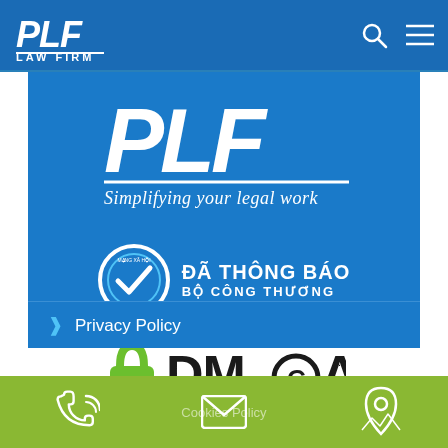[Figure (logo): PLF Law Firm logo in white on blue navigation bar, with search icon and hamburger menu]
[Figure (logo): PLF Law Firm large white logo with italic tagline 'Simplifying your legal work' on blue background]
[Figure (logo): Da Thong Bao Bo Cong Thuong certification badge - circular checkmark icon with Vietnamese text]
[Figure (logo): DMCA.com protection badge - green padlock icon with DMCA text]
Privacy Policy
Cookies Policy
[Figure (infographic): Footer bar with phone icon, email icon, and location/map icon on green background]